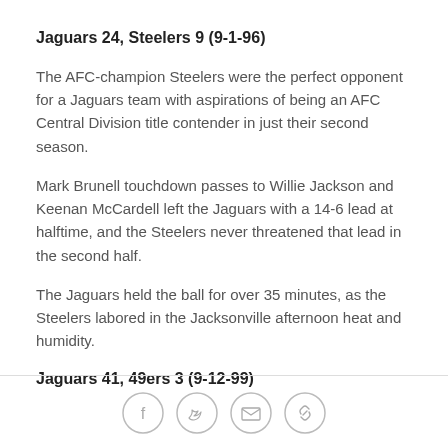Jaguars 24, Steelers 9 (9-1-96)
The AFC-champion Steelers were the perfect opponent for a Jaguars team with aspirations of being an AFC Central Division title contender in just their second season.
Mark Brunell touchdown passes to Willie Jackson and Keenan McCardell left the Jaguars with a 14-6 lead at halftime, and the Steelers never threatened that lead in the second half.
The Jaguars held the ball for over 35 minutes, as the Steelers labored in the Jacksonville afternoon heat and humidity.
Jaguars 41, 49ers 3 (9-12-99)
[Figure (infographic): Social sharing icons: Facebook, Twitter, Email, Link]